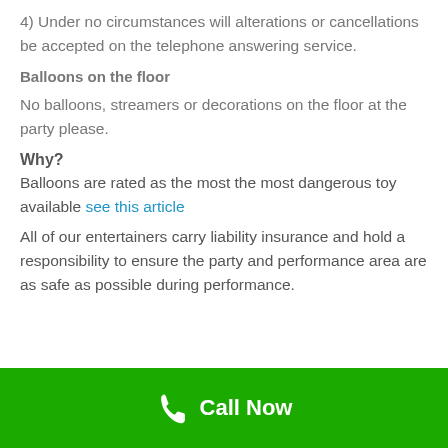4) Under no circumstances will alterations or cancellations be accepted on the telephone answering service.
Balloons on the floor
No balloons, streamers or decorations on the floor at the party please.
Why?
Balloons are rated as the most the most dangerous toy available see this article
All of our entertainers carry liability insurance and hold a responsibility to ensure the party and performance area are as safe as possible during performance.
Call Now